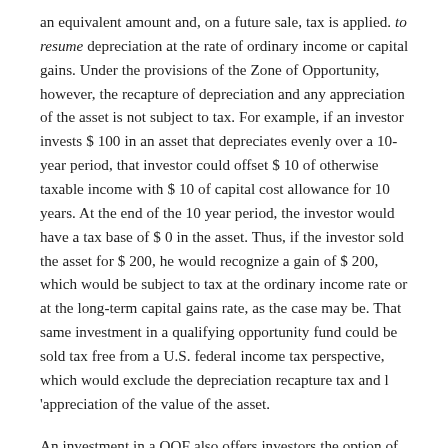an equivalent amount and, on a future sale, tax is applied. to resume depreciation at the rate of ordinary income or capital gains. Under the provisions of the Zone of Opportunity, however, the recapture of depreciation and any appreciation of the asset is not subject to tax. For example, if an investor invests $ 100 in an asset that depreciates evenly over a 10-year period, that investor could offset $ 10 of otherwise taxable income with $ 10 of capital cost allowance for 10 years. At the end of the 10 year period, the investor would have a tax base of $ 0 in the asset. Thus, if the investor sold the asset for $ 200, he would recognize a gain of $ 200, which would be subject to tax at the ordinary income rate or at the long-term capital gains rate, as the case may be. That same investment in a qualifying opportunity fund could be sold tax free from a U.S. federal income tax perspective, which would exclude the depreciation recapture tax and l 'appreciation of the value of the asset.
An investment in a QOF also offers investors the option of reforesting the investments and receiving a distribution of the